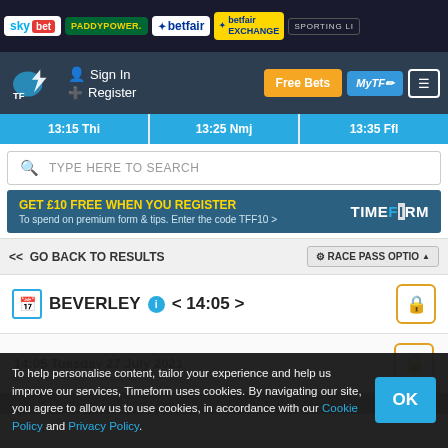[Figure (screenshot): Sponsor logos bar: Sky Bet, PaddyPower, Betfair, Betfair Exchange, Sporting Life]
Sign In | Register | Free Bets | MyTF | Menu
13:15 Thi | 13:25 Nmj | 13:35 Ffl
TYPE HERE TO SEARCH
GET £10 FREE WHEN YOU REGISTER - To spend on premium form & tips. Enter the code TFF10 > TIMEFORM
<< GO BACK TO RESULTS | RACE PASS OPTIONS
BEVERLEY < 14:05 >
14:05 Tuesday 27 July 2021
ALAN MCGUINNESS AND ROBIN LUNNESS MEMORIAL FEF
To help personalise content, tailor your experience and help us improve our services, Timeform uses cookies. By navigating our site, you agree to allow us to use cookies, in accordance with our Cookie Policy and Privacy Policy.